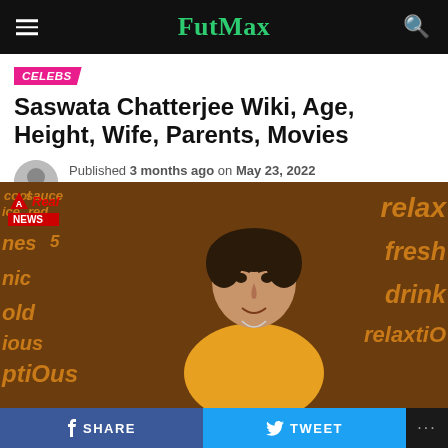FutMax
CELEBS
Saswata Chatterjee Wiki, Age, Height, Wife, Parents, Movies
Published 3 months ago on May 23, 2022
By admin
[Figure (photo): Photo of Saswata Chatterjee in a yellow shirt against a brown background with orange word cloud text (relax, fresh, drink, relaxtion, sauce, nes, onic, old, ious, ptiOus). Real News logo visible in top-left corner of image.]
SHARE   TWEET